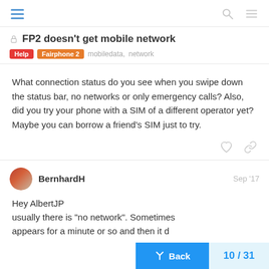FP2 doesn't get mobile network
FP2 doesn't get mobile network
Help  Fairphone 2  mobiledata, network
What connection status do you see when you swipe down the status bar, no networks or only emergency calls? Also, did you try your phone with a SIM of a different operator yet? Maybe you can borrow a friend's SIM just to try.
BernhardH  Sep '17
Hey AlbertJP usually there is "no network". Sometimes appears for a minute or so and then it d